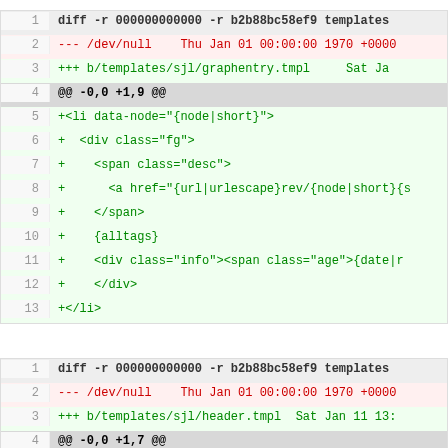diff block 1: diff -r 000000000000 -r b2b88bc58ef9 templates/sjl/graphentry.tmpl
diff block 2: diff -r 000000000000 -r b2b88bc58ef9 templates/sjl/header.tmpl